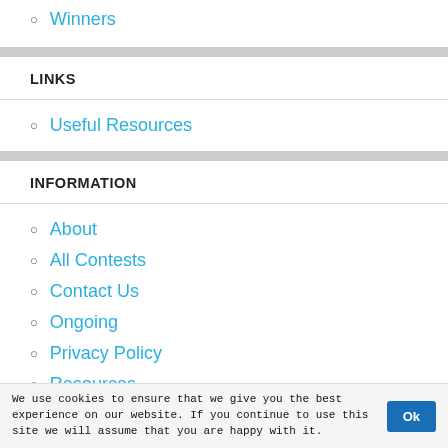Winners
LINKS
Useful Resources
INFORMATION
About
All Contests
Contact Us
Ongoing
Privacy Policy
Resources
Search Results
We use cookies to ensure that we give you the best experience on our website. If you continue to use this site we will assume that you are happy with it.